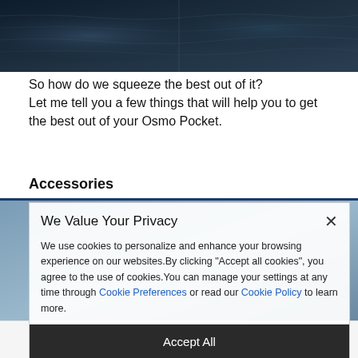[Figure (photo): Dark water/ocean texture photograph at top of page]
So how do we squeeze the best out of it?
Let me tell you a few things that will help you to get the best out of your Osmo Pocket.
Accessories
[Figure (screenshot): Cookie consent modal overlay: 'We Value Your Privacy' header with X close button, body text about cookies with links to Cookie Preferences and Cookie Policy, and Accept All button at bottom. Background shows blurred image with circular shapes.]
Cookie Preferences